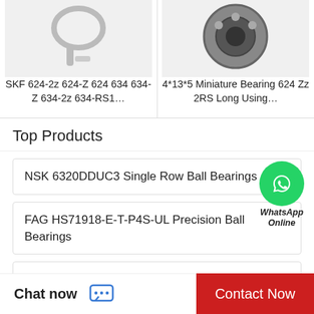[Figure (photo): Product image of SKF bearing/hook component, partially visible at top]
[Figure (photo): Product image of miniature bearing 624, partially visible at top]
SKF 624-2z 624-Z 624 634 634-Z 634-2z 634-RS1…
4*13*5 Miniature Bearing 624 Zz 2RS Long Using…
Top Products
NSK 6320DDUC3 Single Row Ball Bearings
[Figure (logo): WhatsApp green circle icon with phone handset, labeled WhatsApp Online]
FAG HS71918-E-T-P4S-UL Precision Ball Bearings
COOPER BEARING 01B150MGR Mounted Units & Inserts
TIMKEN 26118-50000/26283-50000 Tapered Platen
Chat now
Contact Now